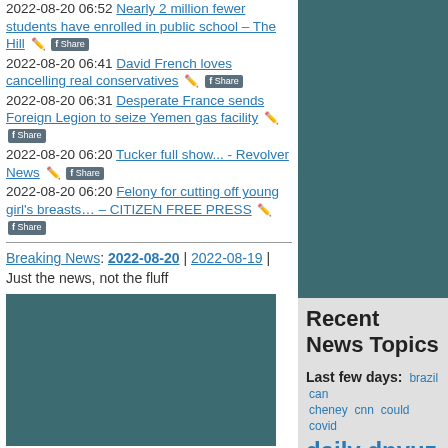2022-08-20 06:52 Nearly 2 million fewer students have enrolled in public school – The Hill
2022-08-20 06:41 David French loves cancelling real conservatives
2022-08-20 06:31 Desperate France sends Foreign Legion to seize Yemen gas facility
2022-08-20 06:20 Tucker full show... - Revolver News
2022-08-20 06:20 Felony for cutting off young girl's breasts… – CITIZEN FREE PRESS
Breaking News: 2022-08-20 | 2022-08-19 | Just the news, not the fluff
Recent News Topics
Last few days: brazil can cheney cnn could covid daily dnyuz election